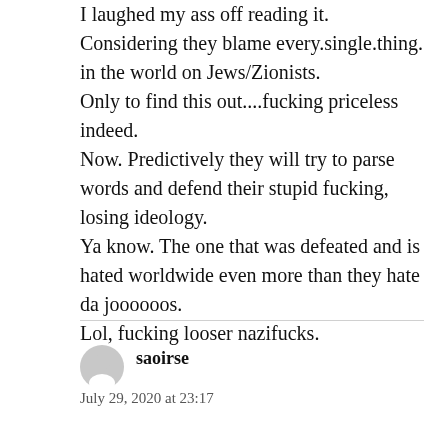I laughed my ass off reading it. Considering they blame every.single.thing. in the world on Jews/Zionists.
Only to find this out....fucking priceless indeed.
Now. Predictively they will try to parse words and defend their stupid fucking, losing ideology.
Ya know. The one that was defeated and is hated worldwide even more than they hate da joooooos.
Lol, fucking looser nazifucks.
saoirse
July 29, 2020 at 23:17